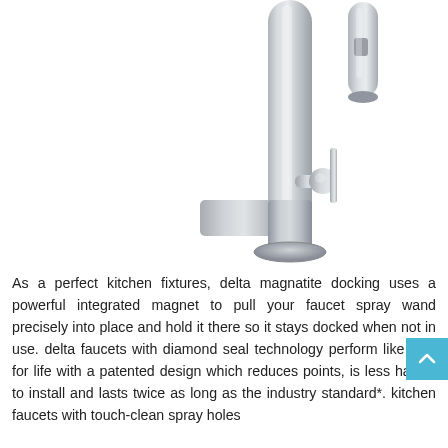[Figure (photo): A chrome kitchen faucet with a cylindrical body, side lever handle, and a separate pull-down spray wand shown in the upper right corner. The faucet is photographed against a white background.]
As a perfect kitchen fixtures, delta magnatite docking uses a powerful integrated magnet to pull your faucet spray wand precisely into place and hold it there so it stays docked when not in use. delta faucets with diamond seal technology perform like new for life with a patented design which reduces points, is less hassle to install and lasts twice as long as the industry standard*. kitchen faucets with touch-clean spray holes